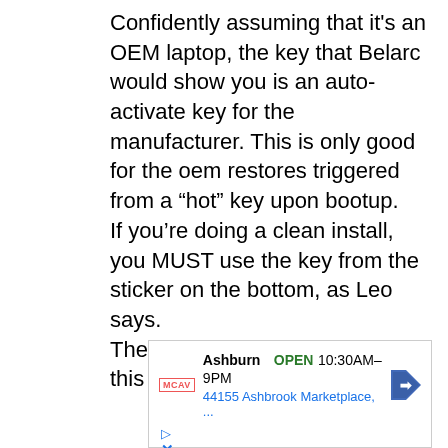Confidently assuming that it's an OEM laptop, the key that Belarc would show you is an auto-activate key for the manufacturer. This is only good for the oem restores triggered from a “hot” key upon bootup.
If you’re doing a clean install, you MUST use the key from the sticker on the bottom, as Leo says.
The auto-activate key will fail in this scenario.
[Figure (screenshot): Advertisement box showing McAfee Ashburn store: OPEN 10:30AM-9PM, 44155 Ashbrook Marketplace, with navigation arrow icon and play/close buttons]